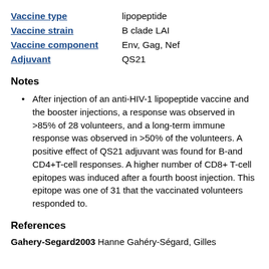Vaccine type: lipopeptide
Vaccine strain: B clade LAI
Vaccine component: Env, Gag, Nef
Adjuvant: QS21
Notes
After injection of an anti-HIV-1 lipopeptide vaccine and the booster injections, a response was observed in >85% of 28 volunteers, and a long-term immune response was observed in >50% of the volunteers. A positive effect of QS21 adjuvant was found for B-and CD4+T-cell responses. A higher number of CD8+ T-cell epitopes was induced after a fourth boost injection. This epitope was one of 31 that the vaccinated volunteers responded to.
References
Gahery-Segard2003 Hanne Gahéry-Ségard, Gilles